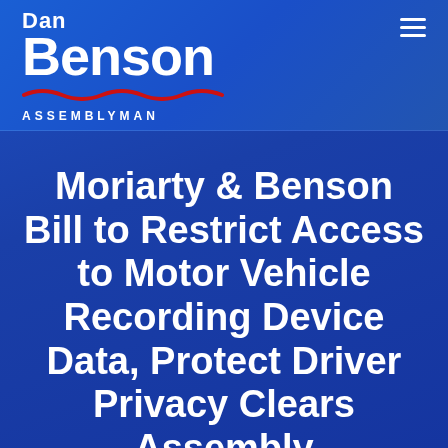Dan Benson ASSEMBLYMAN
Moriarty & Benson Bill to Restrict Access to Motor Vehicle Recording Device Data, Protect Driver Privacy Clears Assembly